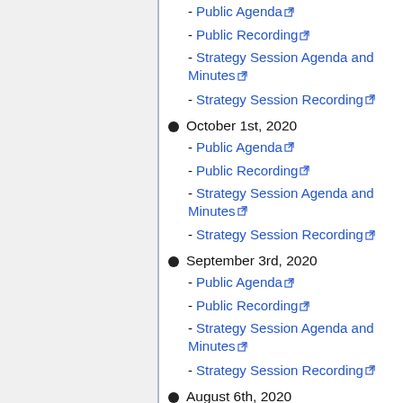- Public Agenda
- Public Recording
- Strategy Session Agenda and Minutes
- Strategy Session Recording
October 1st, 2020
- Public Agenda
- Public Recording
- Strategy Session Agenda and Minutes
- Strategy Session Recording
September 3rd, 2020
- Public Agenda
- Public Recording
- Strategy Session Agenda and Minutes
- Strategy Session Recording
August 6th, 2020